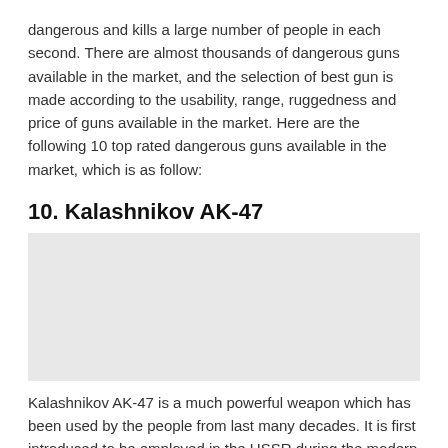dangerous and kills a large number of people in each second. There are almost thousands of dangerous guns available in the market, and the selection of best gun is made according to the usability, range, ruggedness and price of guns available in the market. Here are the following 10 top rated dangerous guns available in the market, which is as follow:
10. Kalashnikov AK-47
[Figure (photo): Image placeholder for Kalashnikov AK-47]
Kalashnikov AK-47 is a much powerful weapon which has been used by the people from last many decades. It is first introduced to be employed in the USSR during the modern warfare. It can shoot almost 580 rounds only in a single minute and its most fantastic